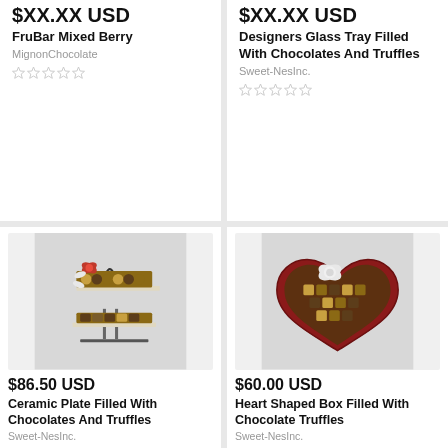$XX.XX USD (clipped)
FruBar Mixed Berry
MignonChocolate
$XX.XX USD (clipped)
Designers Glass Tray Filled With Chocolates And Truffles
Sweet-NesInc.
[Figure (photo): A two-tiered metal display stand filled with assorted chocolates and truffles, decorated with a red bow and ribbon.]
$86.50 USD
Ceramic Plate Filled With Chocolates And Truffles
Sweet-NesInc.
[Figure (photo): A heart-shaped red box filled with assorted chocolate truffles, with a white bow decoration.]
$60.00 USD
Heart Shaped Box Filled With Chocolate Truffles
Sweet-NesInc.